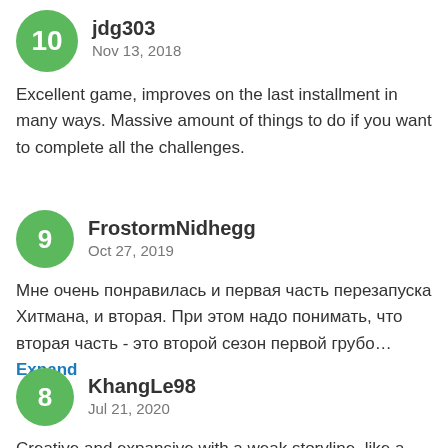10  jdg303  Nov 13, 2018
Excellent game, improves on the last installment in many ways. Massive amount of things to do if you want to complete all the challenges.
9  FrostormNidhegg  Oct 27, 2019
Мне очень понравилась и первая часть перезапуска Хитмана, и вторая. При этом надо понимать, что вторая часть - это второй сезон первой грубо… Expand
8  KhangLe98  Jul 21, 2020
Creative and expansive with a weak storyline, like a narrator